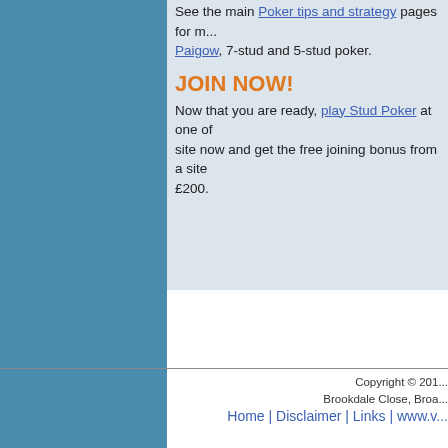See the main Poker tips and strategy pages for more on Paigow, 7-stud and 5-stud poker.
JOIN NOW!
Now that you are ready, play Stud Poker at one of our site now and get the free joining bonus from a site offering up to £200.
Virgin Casino | Best Roulette Sys...
Copyright © 201... Brookdale Close, Broa...
Home | Disclaimer | Links | www.v...